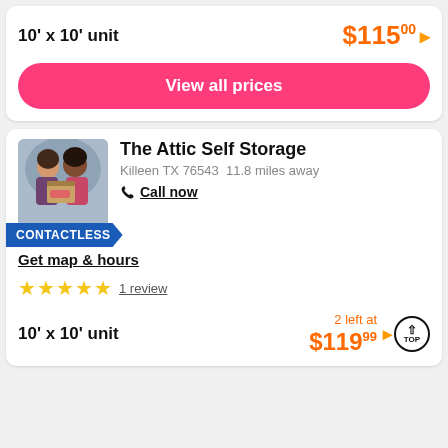10' x 10' unit
$115.00
View all prices
The Attic Self Storage
Killeen TX 76543  11.8 miles away
Call now
CONTACTLESS
Get map & hours
1 review
10' x 10' unit
2 left at $119.99